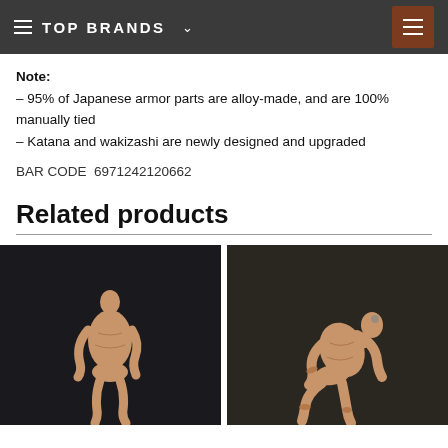TOP BRANDS
Note:
– 95% of Japanese armor parts are alloy-made, and are 100% manually tied
– Katana and wakizashi are newly designed and upgraded
BAR CODE  6971242120662
Related products
[Figure (photo): Action figure body in a standing pose against dark background]
[Figure (photo): Action figure body in a crouching/bent pose against dark background]